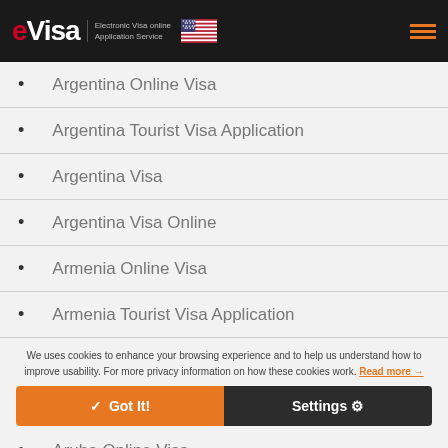eVisa — Electronic Visa online Application Service
Argentina Online Visa
Argentina Tourist Visa Application
Argentina Visa
Argentina Visa Online
Armenia Online Visa
Armenia Tourist Visa Application
We uses cookies to enhance your browsing experience and to help us understand how to improve usability. For more privacy information on how these cookies work. Read more →
Aruba Online Visa